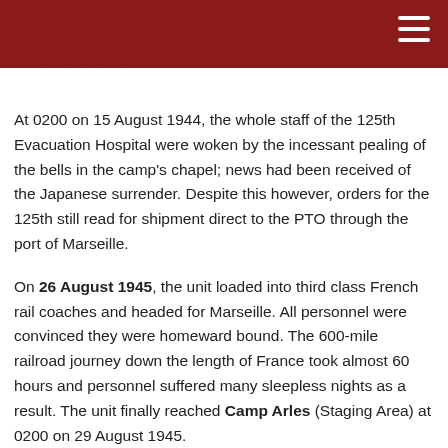France.
At 0200 on 15 August 1944, the whole staff of the 125th Evacuation Hospital were woken by the incessant pealing of the bells in the camp's chapel; news had been received of the Japanese surrender. Despite this however, orders for the 125th still read for shipment direct to the PTO through the port of Marseille.
On 26 August 1945, the unit loaded into third class French rail coaches and headed for Marseille. All personnel were convinced they were homeward bound. The 600-mile railroad journey down the length of France took almost 60 hours and personnel suffered many sleepless nights as a result. The unit finally reached Camp Arles (Staging Area) at 0200 on 29 August 1945.
Upon arrival, excess equipment was turned in and personnel received authorizations to carry war trophies aboard and past